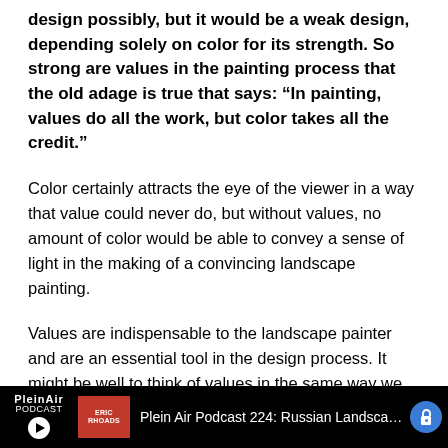design possibly, but it would be a weak design, depending solely on color for its strength. So strong are values in the painting process that the old adage is true that says: “In painting, values do all the work, but color takes all the credit.”
Color certainly attracts the eye of the viewer in a way that value could never do, but without values, no amount of color would be able to convey a sense of light in the making of a convincing landscape painting.
Values are indispensable to the landscape painter and are an essential tool in the design process. It might be well to think of values in the same way we think of the framework of a house, with color as the final paint job. As you can see, there would be no paint job without the frame, illustrating the fact...
Plein Air Podcast 224: Russian Landscape Painter Zufar Bikbo